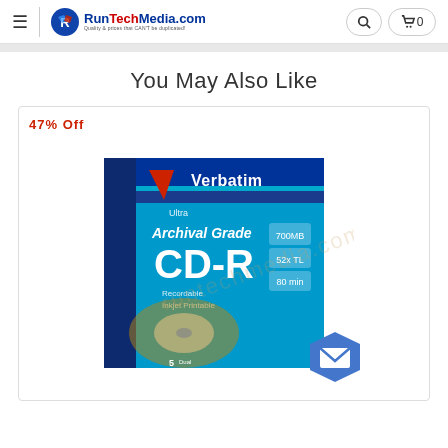RunTechMedia.com — Quality & prices that CAN'T be duplicated!
You May Also Like
47% Off
[Figure (photo): Verbatim Ultra Archival Grade CD-R product box, 5-pack, 52x, 700MB, 80min, with inkjet printable label. Blue and navy packaging with Verbatim logo and CD image visible.]